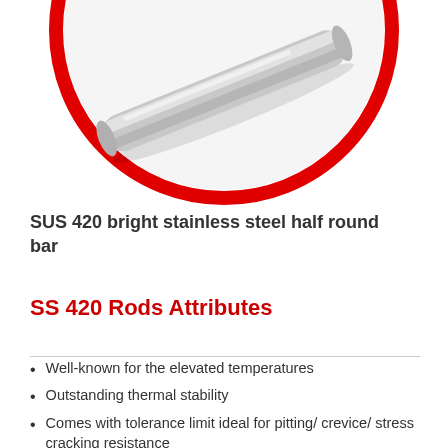[Figure (photo): Circular product image with a red border showing a SUS 420 bright stainless steel half round bar on a white background. The bar appears as a cylindrical metallic rod shown diagonally.]
SUS 420 bright stainless steel half round bar
SS 420 Rods Attributes
Well-known for the elevated temperatures
Outstanding thermal stability
Comes with tolerance limit ideal for pitting/ crevice/ stress cracking resistance
Strong finish
Resists corrosion/ oxidation/ rust at